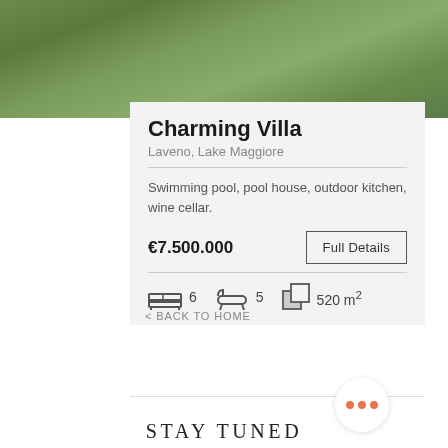[Figure (photo): Blurred outdoor greenery/nature photo at the top of the page]
Charming Villa
Laveno, Lake Maggiore
Swimming pool, pool house, outdoor kitchen, wine cellar.
€7.500.000
Full Details
6  5  520 m²
< BACK TO HOME
STAY TUNED